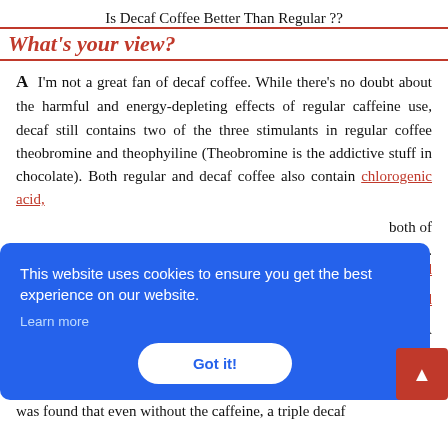Is Decaf Coffee Better Than Regular ??
What's your view?
A  I'm not a great fan of decaf coffee. While there's no doubt about the harmful and energy-depleting effects of regular caffeine use, decaf still contains two of the three stimulants in regular coffee theobromine and theophyiline (Theobromine is the addictive stuff in chocolate). Both regular and decaf coffee also contain chlorogenic acid, …both of …attack. …would …[decaf] …nish. A …e decaf
[Figure (screenshot): Cookie consent banner overlay in blue with text 'This website uses cookies to ensure you get the best experience on our website.', a 'Learn more' link, and a 'Got it!' button. A red scroll-to-top button with an up arrow is on the right.]